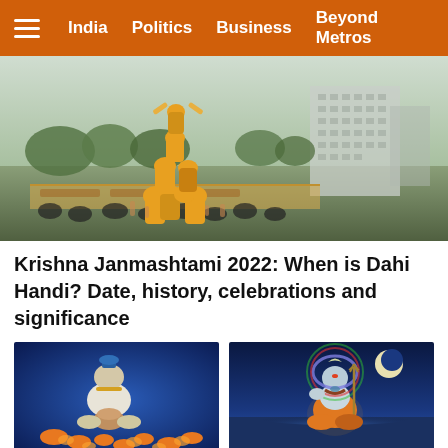India  Politics  Business  Beyond Metros
[Figure (photo): People forming a human pyramid (Dahi Handi celebration) outdoors with yellow shirts, trees and a tall building in the background]
Krishna Janmashtami 2022: When is Dahi Handi? Date, history, celebrations and significance
[Figure (photo): Baby Krishna figurine sitting with marigold flowers on a blue background]
[Figure (photo): Illustration of Lord Shiva sitting in meditation by a lake at night]
Janmashtami 2022:
Devotees throng